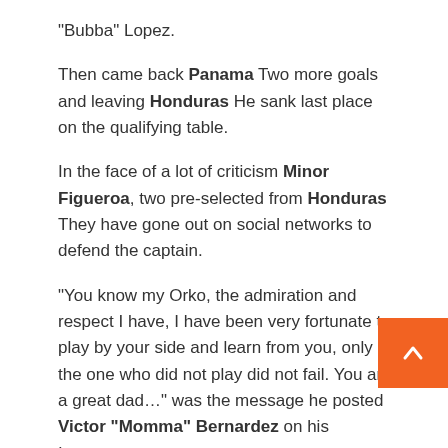“Bubba” Lopez.
Then came back Panama Two more goals and leaving Honduras He sank last place on the qualifying table.
In the face of a lot of criticism Minor Figueroa, two pre-selected from Honduras They have gone out on social networks to defend the captain.
“You know my Orko, the admiration and respect I have, I have been very fortunate to play by your side and learn from you, only the one who did not play did not fail. You are a great dad…” was the message he posted Victor “Momma” Bernardez on his Instagram account.
What’s more: Minor Figueroa shows his face and speaks after the defeat to Panama
On the other hand, the current football marathon